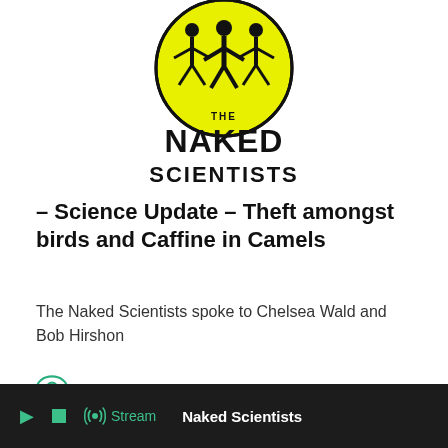[Figure (logo): The Naked Scientists logo — circular yellow and black icon with human figures on top, and 'THE NAKED SCIENTISTS' text below in bold black letters]
– Science Update – Theft amongst birds and Caffine in Camels
The Naked Scientists spoke to Chelsea Wald and Bob Hirshon
FULL TRANSCRIPT
▶  ■  Stream  Naked Scientists